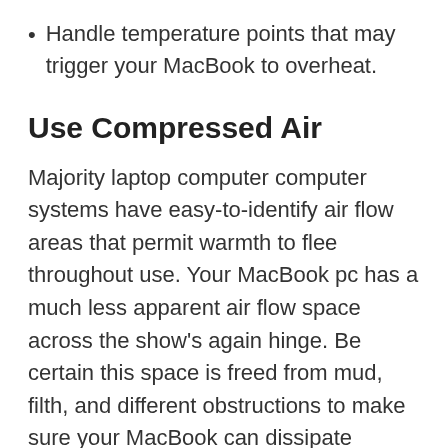Handle temperature points that may trigger your MacBook to overheat.
Use Compressed Air
Majority laptop computer computer systems have easy-to-identify air flow areas that permit warmth to flee throughout use. Your MacBook pc has a much less apparent air flow space across the show's again hinge. Be certain this space is freed from mud, filth, and different obstructions to make sure your MacBook can dissipate warmth as designed. Use compressed air to scrub this air flow space and maintain the pc cool.
Maintain in a well-ventilated space